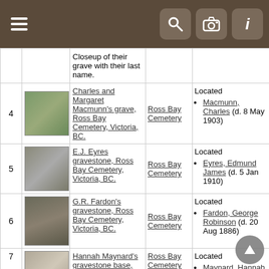[Figure (screenshot): Mobile app navigation bar with hamburger menu on left and search, camera, info icons on right, brown background]
| # | Image | Title | Location | Status | Links |
| --- | --- | --- | --- | --- | --- |
|  |  | Closeup of their grave with their last name. |  |  |  |
| 4 | [image] | Charles and Margaret Macmunn's grave, Ross Bay Cemetery, Victoria, BC. | Ross Bay Cemetery | Located | Macmunn, Charles (d. 8 May 1903) |
| 5 | [image] | E.J. Eyres gravestone, Ross Bay Cemetery, Victoria, BC. | Ross Bay Cemetery | Located | Eyres, Edmund James (d. 5 Jan 1910) |
| 6 | [image] | G.R. Fardon's gravestone, Ross Bay Cemetery, Victoria, BC. | Ross Bay Cemetery | Located | Fardon, George Robinson (d. 20 Aug 1886) |
| 7 | [image] | Hannah Maynard's gravestone base, Ross Bay Cemetery, | Ross Bay Cemetery | Located | Maynard, Hannah Hatherly (d. 15 May 1918) |